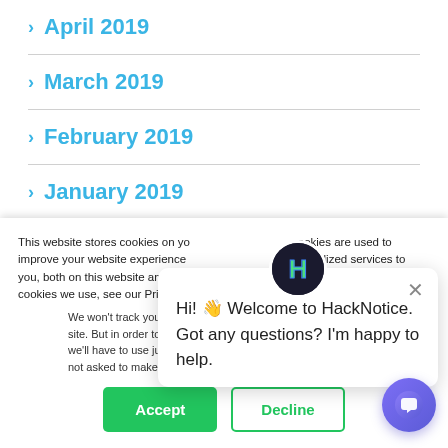> April 2019
> March 2019
> February 2019
> January 2019
> December 2018
This website stores cookies on your computer. These cookies are used to improve your website experience and provide more personalized services to you, both on this website and through other media. To find out more about the cookies we use, see our Privacy P...
We won't track your information when you visit our site. But in order to comply with your preferences, we'll have to use just one tiny cookie so that you're not asked to make this choice again.
[Figure (other): HackNotice chat popup with H logo, close button, and message: Hi! Welcome to HackNotice. Got any questions? I'm happy to help.]
Hi! 👋 Welcome to HackNotice. Got any questions? I'm happy to help.
[Figure (other): Accept and Decline cookie consent buttons; Accept is green filled, Decline is green outlined]
[Figure (other): Purple chat FAB button in bottom right corner]